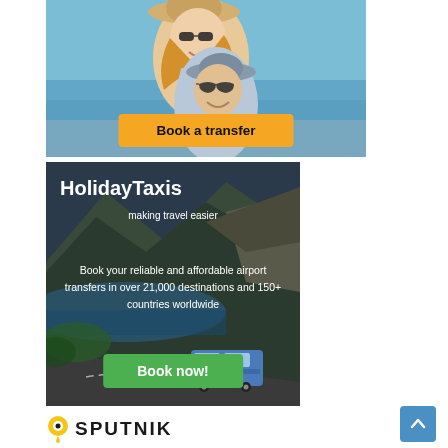[Figure (photo): Advertisement banner showing a smiling couple wearing sunglasses and hats at a beach/sea background with a yellow 'Book a transfer' button]
[Figure (photo): HolidayTaxis advertisement with mountain/coastal road background showing a bus, with text 'HolidayTaxis making travel easier', description about 21,000 destinations and 150+ countries, and a green 'Book now!' button]
[Figure (logo): Sputnik logo with yellow/black pin icon and SPUTNIK text in bold capital letters]